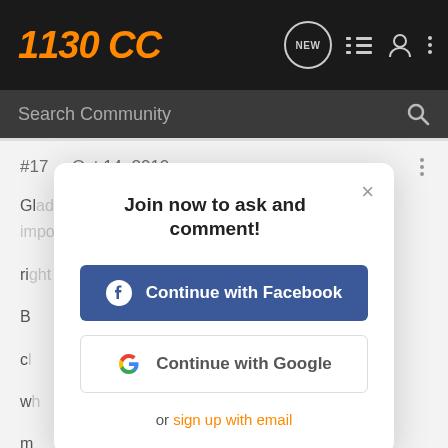1130 CC
Search Community
#17 · Oct 14, 2010
Glad you didn't have any injuries, that is the most important thing right now...
Join now to ask and comment!
Continue with Facebook
Continue with Google
or sign up with email